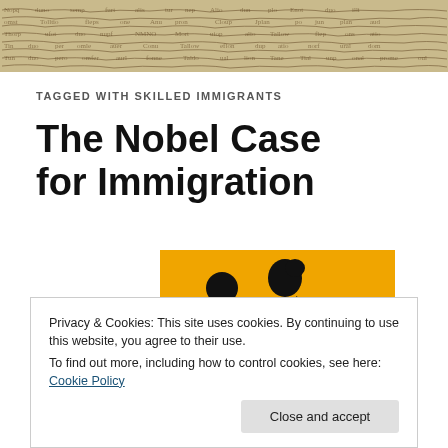[Figure (illustration): Aged manuscript/handwriting header image with cursive historical text on parchment-colored background]
TAGGED WITH SKILLED IMMIGRANTS
The Nobel Case for Immigration
[Figure (illustration): Orange background illustration showing black silhouettes of a family (adult and two children) running, resembling a crossing sign]
Privacy & Cookies: This site uses cookies. By continuing to use this website, you agree to their use.
To find out more, including how to control cookies, see here: Cookie Policy
Close and accept